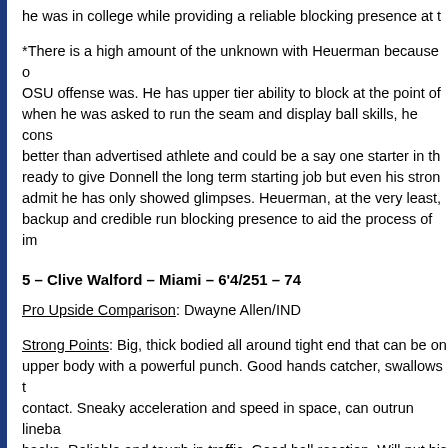he was in college while providing a reliable blocking presence at t
*There is a high amount of the unknown with Heuerman because of how limited the OSU offense was. He has upper tier ability to block at the point of attack, and when he was asked to run the seam and display ball skills, he consistently did. A better than advertised athlete and could be a say one starter in the league. I am ready to give Donnell the long term starting job but even his strongest advocates admit he has only showed glimpses. Heuerman, at the very least, could be a quality backup and credible run blocking presence to aid the process of improving.
5 – Clive Walford – Miami – 6'4/251 – 74
Pro Upside Comparison: Dwayne Allen/IND
Strong Points: Big, thick bodied all around tight end that can be on the field. Strong upper body with a powerful punch. Good hands catcher, swallows the ball through contact. Sneaky acceleration and speed in space, can outrun linebackers and some backs. Reliable and tough in traffic. Good ball reaction. Will put his body in the middle. Shields defenders from making plays on the ball. Good body control. Very stable as a blocker, able to maintain his center of gravity.